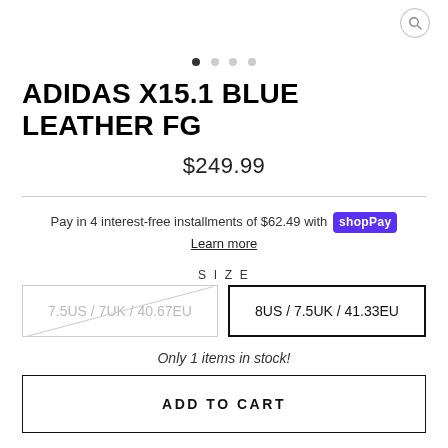[Figure (other): Search icon (magnifying glass) in circle, top right]
[Figure (other): Carousel dot navigation: 4 dots, first dot active (filled), rest grey]
ADIDAS X15.1 BLUE LEATHER FG
$249.99
Pay in 4 interest-free installments of $62.49 with shop Pay
Learn more
SIZE
7.5US / 7UK / 40.67EU
8US / 7.5UK / 41.33EU
Only 1 items in stock!
ADD TO CART